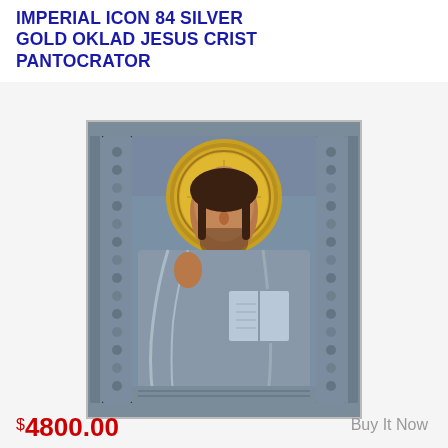IMPERIAL ICON 84 SILVER GOLD OKLAD JESUS CRIST PANTOCRATOR
[Figure (photo): Russian Orthodox icon of Jesus Christ Pantocrator with silver 84 oklad (metal cover) and gold halo, Jesus holding a book in his left hand and blessing with his right hand]
$4800.00
Buy It Now